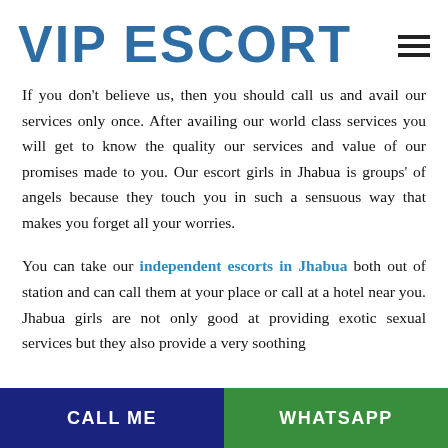VIP ESCORT
If you don’t believe us, then you should call us and avail our services only once. After availing our world class services you will get to know the quality our services and value of our promises made to you. Our escort girls in Jhabua is groups’ of angels because they touch you in such a sensuous way that makes you forget all your worries.
You can take our independent escorts in Jhabua both out of station and can call them at your place or call at a hotel near you. Jhabua girls are not only good at providing exotic sexual services but they also provide a very soothing
CALL ME   WHATSAPP